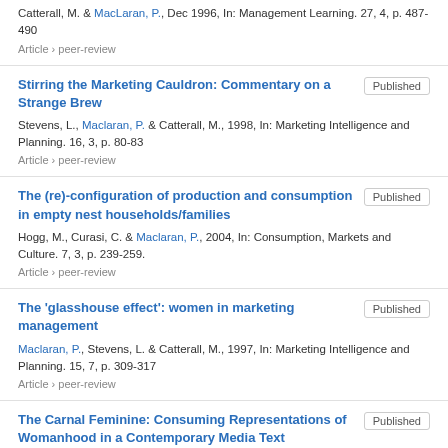Catterall, M. & MacLaran, P., Dec 1996, In: Management Learning. 27, 4, p. 487-490
Article › peer-review
Stirring the Marketing Cauldron: Commentary on a Strange Brew
Stevens, L., Maclaran, P. & Catterall, M., 1998, In: Marketing Intelligence and Planning. 16, 3, p. 80-83
Article › peer-review
The (re)-configuration of production and consumption in empty nest households/families
Hogg, M., Curasi, C. & Maclaran, P., 2004, In: Consumption, Markets and Culture. 7, 3, p. 239-259.
Article › peer-review
The 'glasshouse effect': women in marketing management
Maclaran, P., Stevens, L. & Catterall, M., 1997, In: Marketing Intelligence and Planning. 15, 7, p. 309-317
Article › peer-review
The Carnal Feminine: Consuming Representations of Womanhood in a Contemporary Media Text
Stevens, L. & Maclaran, P., 2012, Gender in Consumer Behavior. Otnes, C. & Tuncay, L. (eds.).
Chapter